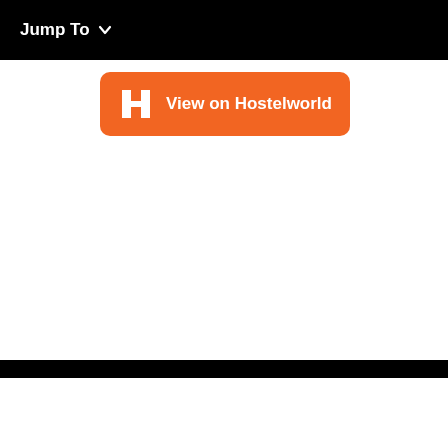Jump To
[Figure (screenshot): Orange button with Hostelworld H logo and text 'View on Hostelworld']